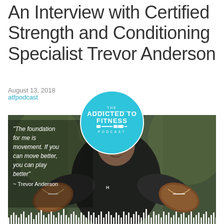An Interview with Certified Strength and Conditioning Specialist Trevor Anderson
August 13, 2018
atfpodcast
[Figure (photo): A Black male athlete in an Under Armour shirt holding two footballs, with an 'Addicted to Fitness Podcast' circular logo overlaid at top, a quote reading 'The foundation for me is movement. If you can move better, you can play better - Trevor Anderson' on the left side, and a white waveform graphic along the bottom of the image.]